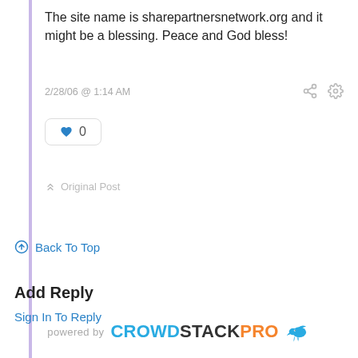The site name is sharepartnersnetwork.org and it might be a blessing. Peace and God bless!
2/28/06 @ 1:14 AM
0
Original Post
Back To Top
Add Reply
Sign In To Reply
powered by CROWDSTACKPRO